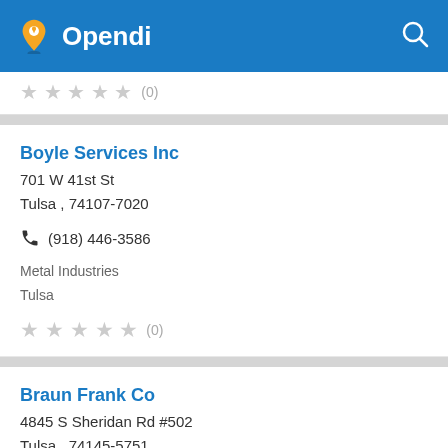Opendi
★★★★★ (0)
Boyle Services Inc
701 W 41st St
Tulsa , 74107-7020
(918) 446-3586
Metal Industries
Tulsa
★★★★★ (0)
Braun Frank Co
4845 S Sheridan Rd #502
Tulsa , 74145-5751
(918) 663-4450
Metal Industries
Tulsa